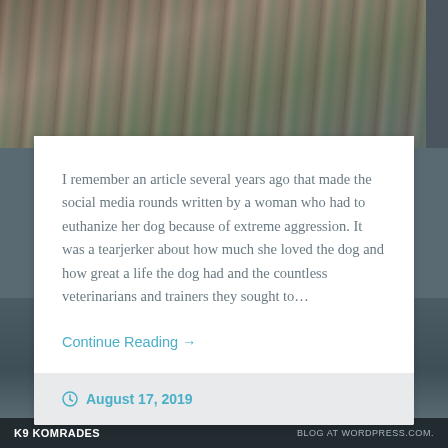[Figure (photo): Blurred outdoor photo showing trees or foliage, dark and muted tones, used as a background/header image for a blog post.]
I remember an article several years ago that made the social media rounds written by a woman who had to euthanize her dog because of extreme aggression. It was a tearjerker about how much she loved the dog and how great a life the dog had and the countless veterinarians and trainers they sought to…
Continue Reading →
August 17, 2019
K9 KOMRADES    BLOG AT WORDPRESS.COM.